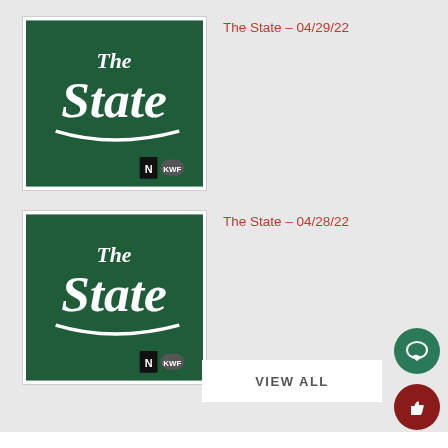[Figure (logo): The State podcast logo — dark green background with white script text reading 'The' above 'State' with a swoosh underline and small logos at bottom right]
The State – 04/29/22
[Figure (logo): The State podcast logo — dark green background with white script text reading 'The' above 'State' with a swoosh underline and small logos at bottom right]
The State – 04/28/22
VIEW ALL